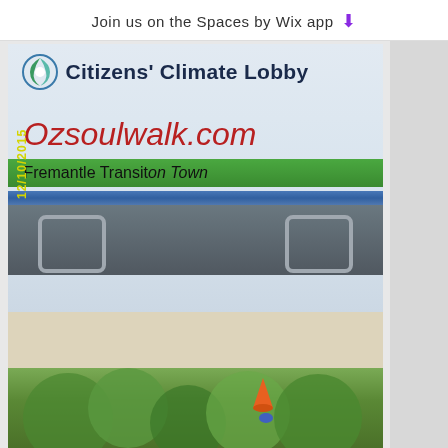Join us on the Spaces by Wix app ⬇
[Figure (photo): Photo of a Citizens' Climate Lobby banner/flag attached to a bicycle trailer or cart. The banner shows 'Citizens Climate Lobby' at top with logo, 'Ozsoulwalk.com' in large red italic text, and 'Fremantle Transition Town' on a green band. A yellow date stamp '12/10/2015' is visible on the left side rotated 90 degrees.]
[Figure (photo): Partial photo showing tree canopy with green foliage and what appears to be an orange cone or marker hanging among the branches on the right side.]